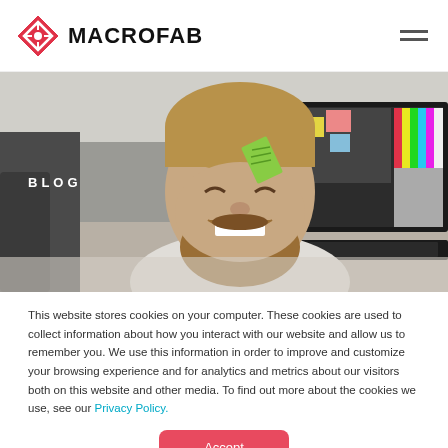[Figure (logo): MacroFab logo with red diamond/circuit icon and bold MACROFAB text, plus hamburger menu icon on the right]
[Figure (photo): Hero blog banner image showing a smiling bearded man leaning back in an office chair, with a sticky note on his forehead, computer monitors visible in the background. White text 'BLOG' overlaid on upper left.]
This website stores cookies on your computer. These cookies are used to collect information about how you interact with our website and allow us to remember you. We use this information in order to improve and customize your browsing experience and for analytics and metrics about our visitors both on this website and other media. To find out more about the cookies we use, see our Privacy Policy.
Accept